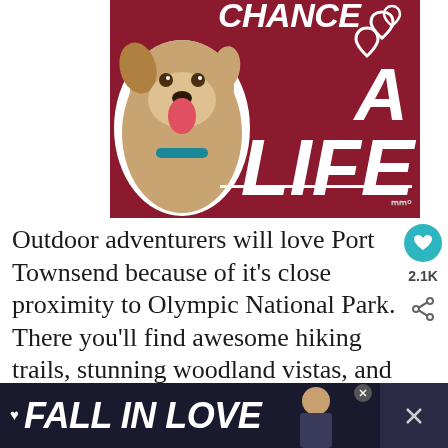[Figure (illustration): Advertisement banner with dark red background showing a dog (pit bull mix) on the left and bold italic white text reading 'CHANCE A LIFE' with heart outlines, and a white underline. Logo mark in bottom right.]
Outdoor adventurers will love Port Townsend because of it's close proximity to Olympic National Park. There you'll find awesome hiking trails, stunning woodland vistas, and so much more. Near Port Townsend there is also the Fort Worden State Park. In Port Townsend you can go
[Figure (illustration): WHAT'S NEXT arrow label with thumbnail photo and text '17 Cutest Small Towns...']
[Figure (illustration): Footer advertisement banner with dark navy background showing bold italic white text 'FALL IN LOVE' with heart icon and a person's photo on the right, with close buttons.]